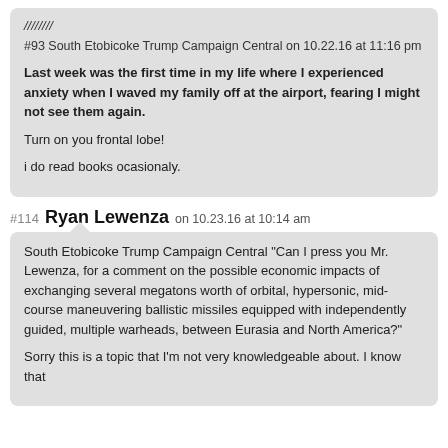////////
#93 South Etobicoke Trump Campaign Central on 10.22.16 at 11:16 pm
Last week was the first time in my life where I experienced anxiety when I waved my family off at the airport, fearing I might not see them again.
Turn on you frontal lobe!
i do read books ocasionaly.
#114 Ryan Lewenza on 10.23.16 at 10:14 am
South Etobicoke Trump Campaign Central "Can I press you Mr. Lewenza, for a comment on the possible economic impacts of exchanging several megatons worth of orbital, hypersonic, mid-course maneuvering ballistic missiles equipped with independently guided, multiple warheads, between Eurasia and North America?"
Sorry this is a topic that I'm not very knowledgeable about. I know that